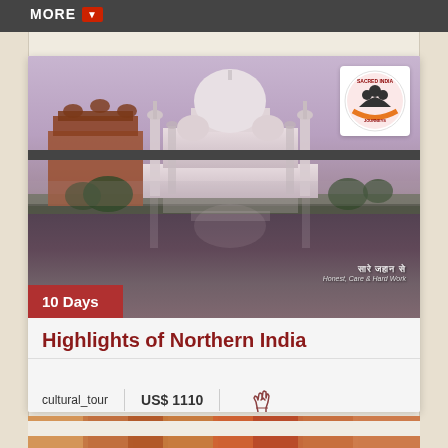MORE
[Figure (photo): Photograph of the Taj Mahal reflected in water at dusk/dawn with purple-pink sky. A company logo badge appears in the top right corner. Text overlay reads Hindi script and tagline 'Honest, Care & Hard Work']
10 Days
Highlights of Northern India
cultural_tour   US$ 1110
[Figure (photo): Partial bottom preview strip showing colorful crowd scene]